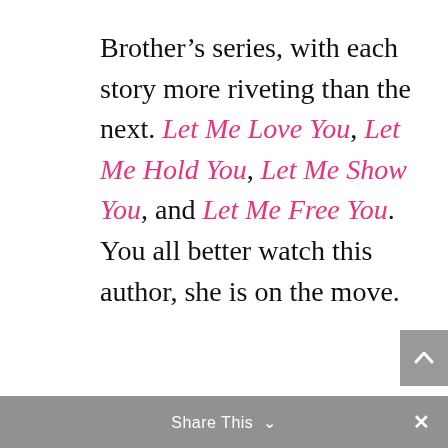Brother's series, with each story more riveting than the next. Let Me Love You, Let Me Hold You, Let Me Show You, and Let Me Free You. You all better watch this author, she is on the move.
[Figure (other): Gray scroll-to-top button with upward chevron arrow]
Share This ∨  ×